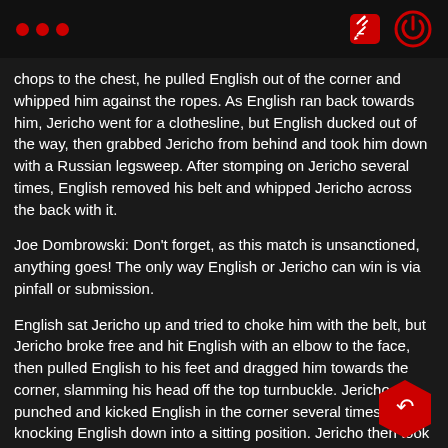• • •  [edit icon] [power icon]
chops to the chest, he pulled English out of the corner and whipped him against the ropes. As English ran back towards him, Jericho went for a clothesline, but English ducked out of the way, then grabbed Jericho from behind and took him down with a Russian legsweep. After stomping on Jericho several times, English removed his belt and whipped Jericho across the back with it.
Joe Dombrowski: Don't forget, as this match is unsanctioned, anything goes! The only way English or Jericho can win is via pinfall or submission.
English sat Jericho up and tried to choke him with the belt, but Jericho broke free and hit English with an elbow to the face, then pulled English to his feet and dragged him towards the corner, slamming his head off the top turnbuckle. Jericho punched and kicked English in the corner several times, knocking English down into a sitting position. Jericho then took several steps back, before hitting English with a running knee to the face! English rolled out of the ring and Jericho followed him to the outside, where he grabbed a steel chair. Jericho drilled English in the ribs with the chair, then hit him across the back with it. As English fell to the ground, Jericho placed the chair on the floor, before hitting English with a DDT onto the chair!